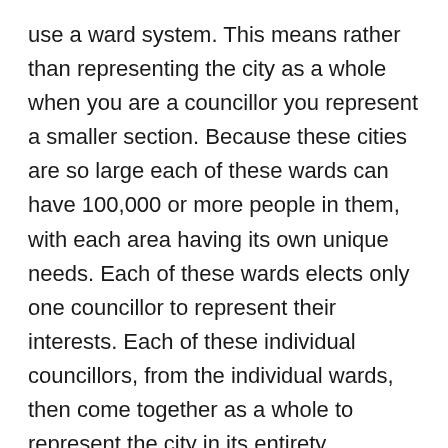use a ward system. This means rather than representing the city as a whole when you are a councillor you represent a smaller section. Because these cities are so large each of these wards can have 100,000 or more people in them, with each area having its own unique needs. Each of these wards elects only one councillor to represent their interests. Each of these individual councillors, from the individual wards, then come together as a whole to represent the city in its entirety.
No Wards